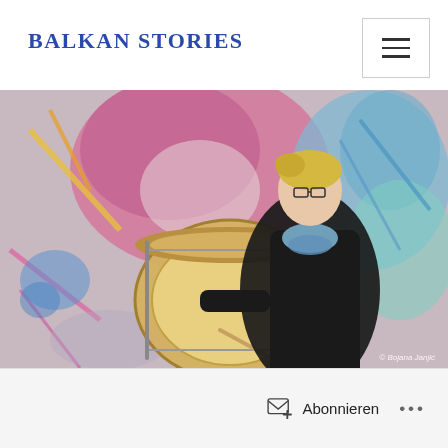BALKAN STORIES
[Figure (photo): Woman playing a large bass drum outdoors in front of a colorful graffiti wall. She has short blonde hair, wears glasses, a black jacket, blue scarf, and black-and-white patterned pants. She holds drumsticks and plays the drum. Photo credit: © Bojana Janjić]
© Bojana Janjić
Abonnieren
•••